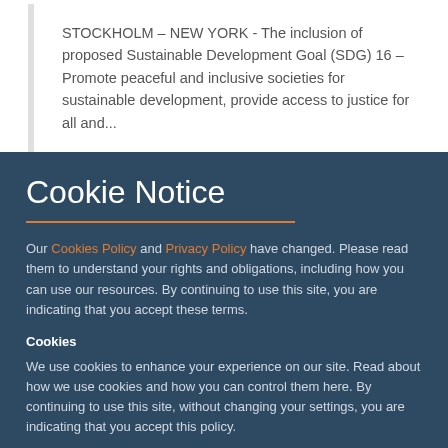STOCKHOLM – NEW YORK - The inclusion of proposed Sustainable Development Goal (SDG) 16 – Promote peaceful and inclusive societies for sustainable development, provide access to justice for all and...
Cookie Notice
Our Cookies Policy and Privacy Policy have changed. Please read them to understand your rights and obligations, including how you can use our resources. By continuing to use this site, you are indicating that you accept these terms.
Cookies
We use cookies to enhance your experience on our site. Read about how we use cookies and how you can control them here. By continuing to use this site, without changing your settings, you are indicating that you accept this policy.
ACCEPT ALL COOKIES | SET PREFERENCES